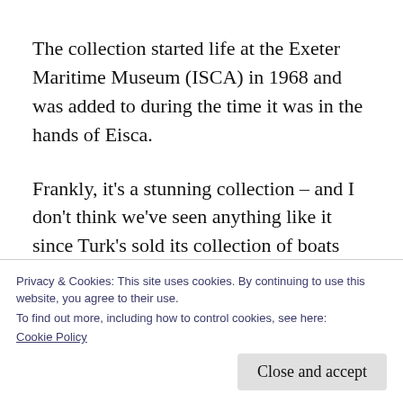The collection started life at the Exeter Maritime Museum (ISCA) in 1968 and was added to during the time it was in the hands of Eisca.
Frankly, it's a stunning collection – and I don't think we've seen anything like it since Turk's sold its collection of boats used for film and television work some years ago. Both sales underline the fragility of collections held in the
Privacy & Cookies: This site uses cookies. By continuing to use this website, you agree to their use.
To find out more, including how to control cookies, see here:
Cookie Policy
Close and accept